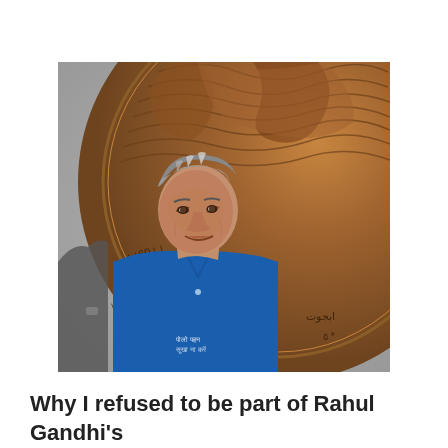[Figure (photo): A middle-aged Indian man with salt-and-pepper hair, wearing a blue polo shirt, smiling and looking upward. Behind him is a large bronze coin/medal featuring an emblem with script text in multiple Indian languages and Arabic. Another person is partially visible at the left edge.]
Why I refused to be part of Rahul Gandhi's